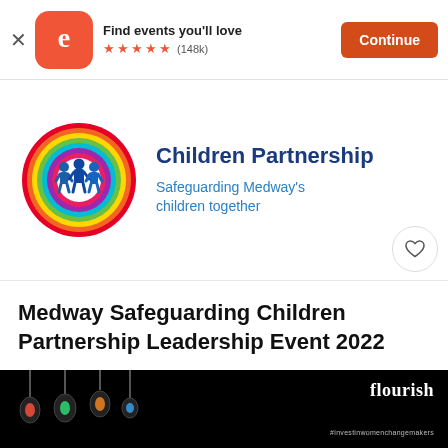Find events you'll love ★★★★★ (148k) Continue
[Figure (logo): Medway Safeguarding Children Partnership logo: colorful concentric rainbow circle with children silhouettes, next to bold navy text 'Children Partnership' and blue tagline 'Safeguarding Medway's children together']
Medway Safeguarding Children Partnership Leadership Event 2022
Fri, Sep 23, 2022 8:30 AM GMT
Free
[Figure (photo): Dark banner with colorful glowing light bulbs on left side and 'flourish #investinwomenchangemakers' text on right in white]